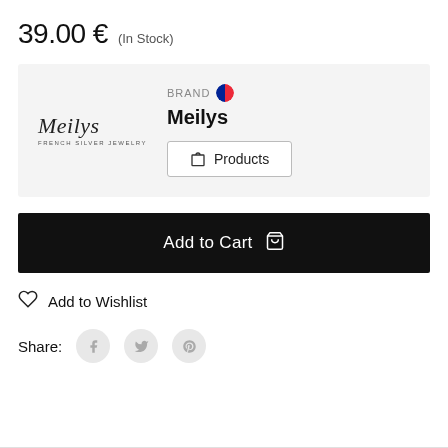39.00 € (In Stock)
[Figure (logo): Meilys French Silver Jewelry logo in italic script font]
BRAND 🇫🇷
Meilys
Products
Add to Cart
Add to Wishlist
Share: